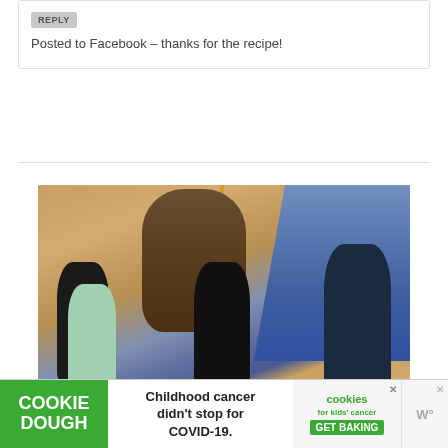REPLY
Posted to Facebook – thanks for the recipe!
[Figure (photo): Family photo with people posing next to a large Donald Duck statue in the grand atrium of a Disney cruise ship, featuring a grand staircase with blue carpet and gold railings in the background.]
Childhood cancer didn't stop for COVID-19.
COOKIE DOUGH
cookies for kids' cancer GET BAKING